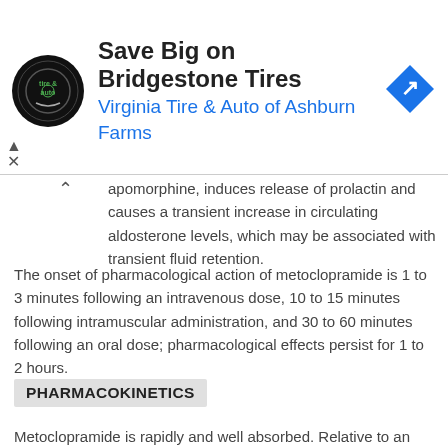[Figure (other): Advertisement banner: Save Big on Bridgestone Tires - Virginia Tire & Auto of Ashburn Farms, with circular tire & auto logo and blue navigation arrow icon]
apomorphine, induces release of prolactin and causes a transient increase in circulating aldosterone levels, which may be associated with transient fluid retention.
The onset of pharmacological action of metoclopramide is 1 to 3 minutes following an intravenous dose, 10 to 15 minutes following intramuscular administration, and 30 to 60 minutes following an oral dose; pharmacological effects persist for 1 to 2 hours.
PHARMACOKINETICS
Metoclopramide is rapidly and well absorbed. Relative to an intravenous dose of 20 mg, the absolute oral bioavailability of metoclopramide is 80% ± 15.5% as demonstrated in a crossover study of 18 subjects. Peak plasma concentrations occur at about 1 to 2 hr after a